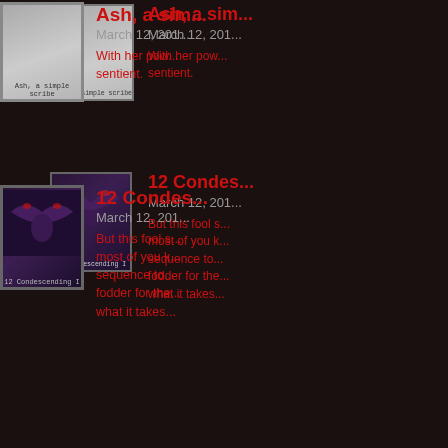[Figure (photo): Polaroid-style photo thumbnail labeled 'Ash, a simple scribe' - gray gradient image]
Ash, a sim...
March 12, 201...
With her pow... sentient.
[Figure (photo): Polaroid-style photo thumbnail labeled '12 Condescending I' - dark purple/black figure image]
12 Condes...
March 12, 201...
But this fool ... most of you ... sequence to ... fodder for the ... what it takes...
[Figure (photo): Polaroid-style photo thumbnail labeled 'Gift Fastidious' - light gray image]
Gift Fastidiou...
March 13, 2016, 6:...
While the experi... pleasant, for his ... former king arou... sacrifice to serve... get spun into him...
[Figure (photo): Polaroid-style photo thumbnail labeled 'The Observing Eyes.' - black and white eye illustration]
The Observing Eyes,...
March 12, 2016, 3:33 am | # | Re...
The holy man attempts to get...
Perhaps it is the wiser man w...